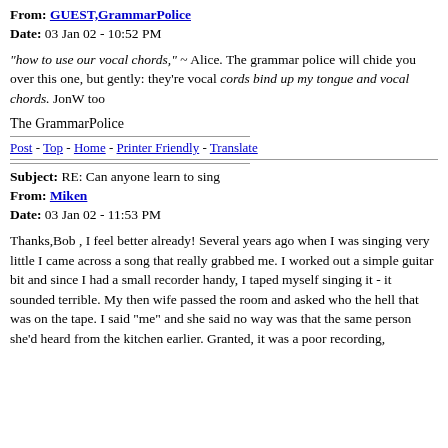From: GUEST,GrammarPolice
Date: 03 Jan 02 - 10:52 PM
"how to use our vocal chords," ~ Alice. The grammar police will chide you over this one, but gently: they're vocal cords bind up my tongue and vocal chords. JonW too
The GrammarPolice
Post - Top - Home - Printer Friendly - Translate
Subject: RE: Can anyone learn to sing
From: Miken
Date: 03 Jan 02 - 11:53 PM
Thanks,Bob , I feel better already! Several years ago when I was singing very little I came across a song that really grabbed me. I worked out a simple guitar bit and since I had a small recorder handy, I taped myself singing it - it sounded terrible. My then wife passed the room and asked who the hell that was on the tape. I said "me" and she said no way was that the same person she'd heard from the kitchen earlier. Granted, it was a poor recording,